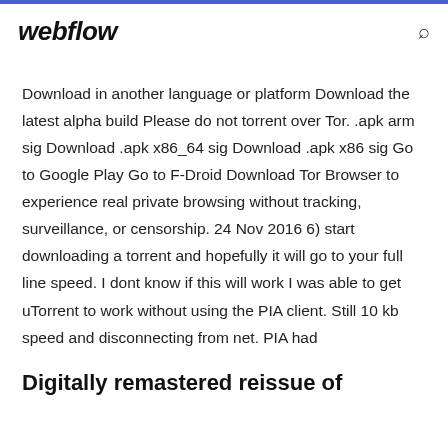webflow
Download in another language or platform Download the latest alpha build Please do not torrent over Tor. .apk arm sig Download .apk x86_64 sig Download .apk x86 sig Go to Google Play Go to F-Droid Download Tor Browser to experience real private browsing without tracking, surveillance, or censorship. 24 Nov 2016 6) start downloading a torrent and hopefully it will go to your full line speed. I dont know if this will work I was able to get uTorrent to work without using the PIA client. Still 10 kb speed and disconnecting from net. PIA had
Digitally remastered reissue of